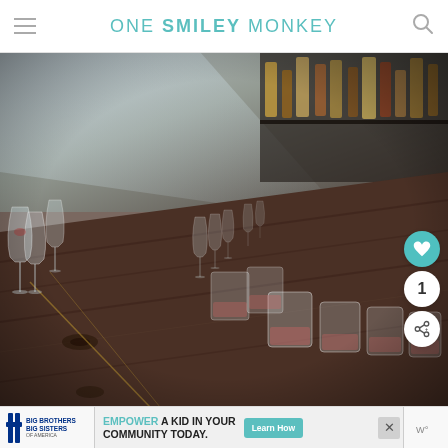ONE SMILEY MONKEY
[Figure (photo): Rows of empty wine glasses and short tumblers lined up along a dark wooden bar counter, with bottles visible in the background. Some glasses contain a small amount of rosé wine. The perspective is from low angle looking down the length of the bar.]
EMPOWER A KID IN YOUR COMMUNITY TODAY.
Learn How